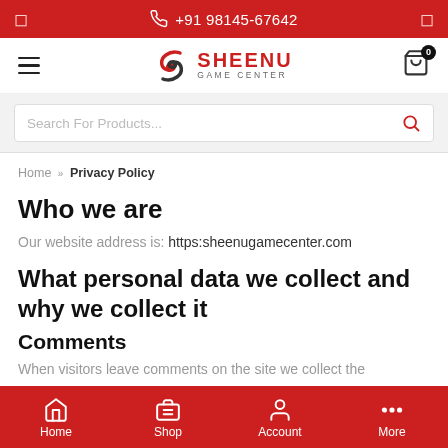📞 +91 98145-67642
[Figure (logo): Sheenu Game Center logo with S icon and shopping cart with badge 0]
Search For Products...
Home » Privacy Policy
Who we are
Our website address is: https:sheenugamecenter.com
What personal data we collect and why we collect it
Comments
When visitors leave comments on the site we collect the
Home  Shop  Account  More